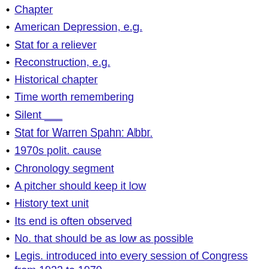Chapter
American Depression, e.g.
Stat for a reliever
Reconstruction, e.g.
Historical chapter
Time worth remembering
Silent ___
Stat for Warren Spahn: Abbr.
1970s polit. cause
Chronology segment
A pitcher should keep it low
History text unit
Its end is often observed
No. that should be as low as possible
Legis. introduced into every session of Congress from 1923 to 1970
Depression-___
Big slice of history
Cold war___